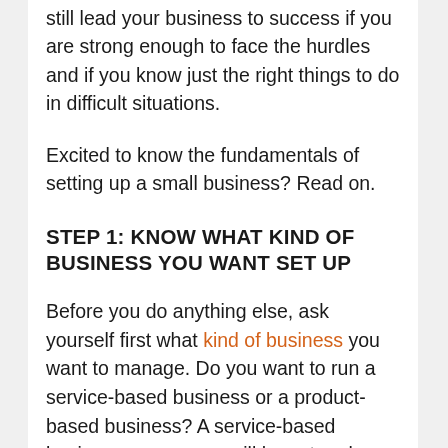still lead your business to success if you are strong enough to face the hurdles and if you know just the right things to do in difficult situations.
Excited to know the fundamentals of setting up a small business? Read on.
STEP 1: KNOW WHAT KIND OF BUSINESS YOU WANT SET UP
Before you do anything else, ask yourself first what kind of business you want to manage. Do you want to run a service-based business or a product-based business? A service-based business means you will have to rely on your abilities to be able to give your customers what they need. In this type of business, what you will